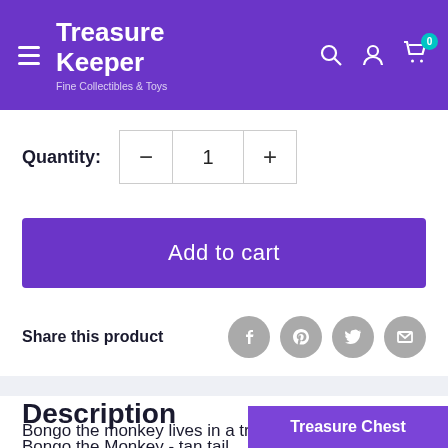Treasure Keeper Fine Collectibles & Toys
Quantity: - 1 +
Add to cart
Share this product
Description
Bongo the Monkey - tan tail
Bongo the monkey lives in a tree
Treasure Chest